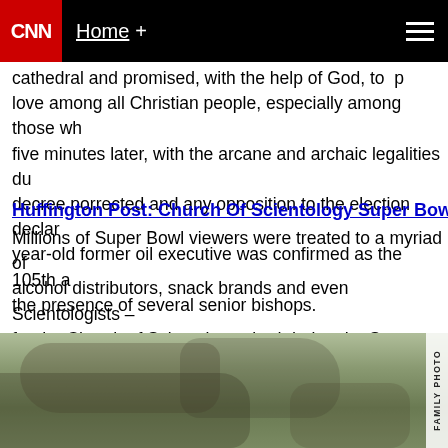CNN | Home +
cathedral and promised, with the help of God, to promote love among all Christian people, especially among those who five minutes later, with the arcane and archaic legalities duly decree porrected and any opposition to the election declared year-old former oil executive was confirmed as the 105th archbishop in the presence of several senior bishops.
Huffington Post: Church Of Scientology Super Bowl Ad H
Millions of Super Bowl viewers were treated to a myriad of alcohol distributors, snack brands and even Scientologists — for the Church of Scientology aired during the Super Bowl, went into halftime around 8 p.m., notes The Hollywood Reporter church's "Knowledge" campaign.
Join the conversation...
[Figure (photo): Outdoor photo with vegetation and stone/rock background, labeled FAMILY PHOTO]